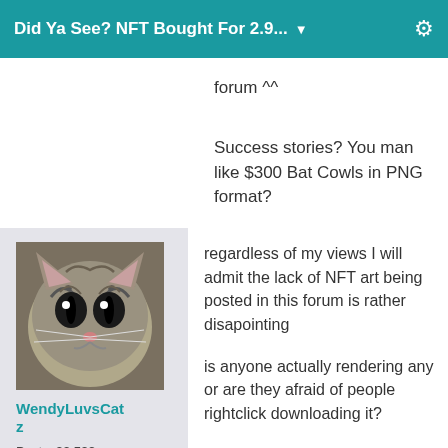Did Ya See? NFT Bought For 2.9...
forum ^^
Success stories? You man like $300 Bat Cowls in PNG format?
[Figure (photo): Close-up photo of a tabby cat with wide eyes looking at camera]
WendyLuvsCatz
Posts: 33,522
June 24
regardless of my views I will admit the lack of NFT art being posted in this forum is rather disapointing
is anyone actually rendering any or are they afraid of people rightclick downloading it?
[Figure (photo): Colorful NFT artwork with bright pink/green background and large stylized letters]